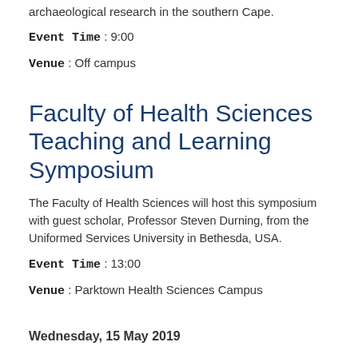archaeological research in the southern Cape.
Event Time : 9:00
Venue : Off campus
Faculty of Health Sciences Teaching and Learning Symposium
The Faculty of Health Sciences will host this symposium with guest scholar, Professor Steven Durning, from the Uniformed Services University in Bethesda, USA.
Event Time : 13:00
Venue : Parktown Health Sciences Campus
Wednesday, 15 May 2019